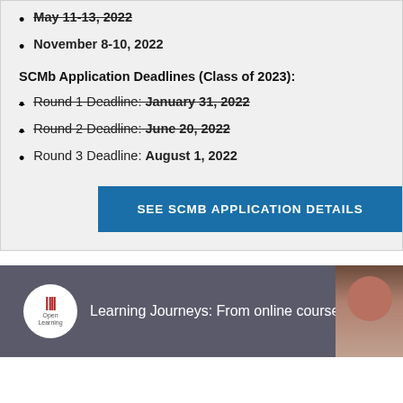May 11-13, 2022
November 8-10, 2022
SCMb Application Deadlines (Class of 2023):
Round 1 Deadline: January 31, 2022
Round 2 Deadline: June 20, 2022
Round 3 Deadline: August 1, 2022
SEE SCMB APPLICATION DETAILS
[Figure (screenshot): MIT Open Learning video thumbnail showing 'Learning Journeys: From online course to master's' with MIT logo and a person's photo]